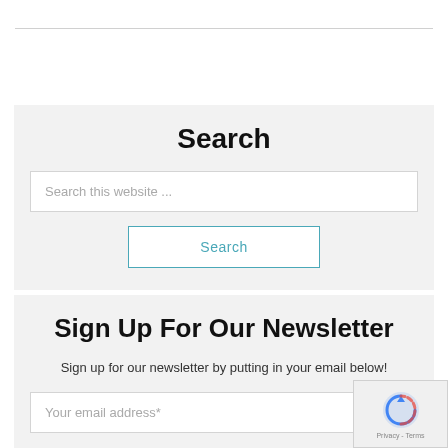Search
Search this website ...
Search
Sign Up For Our Newsletter
Sign up for our newsletter by putting in your email below!
Your email address*